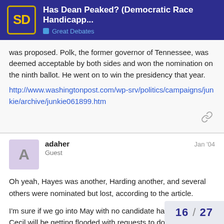Has Dean Peaked? (Democratic Race Handicapp... | Great Debates
was proposed. Polk, the former governor of Tennessee, was deemed acceptable by both sides and won the nomination on the ninth ballot. He went on to win the presidency that year. http://www.washingtonpost.com/wp-srv/politics/campaigns/junkie/archive/junkie061899.htm
adaher | Guest | Jan '04
Oh yeah, Hayes was another, Harding another, and several others were nominated but lost, according to the article.
I'm sure if we go into May with no candidate having a majority, Cecil will be getting flooded with requests to do an article on brokered conventions.
16 / 27